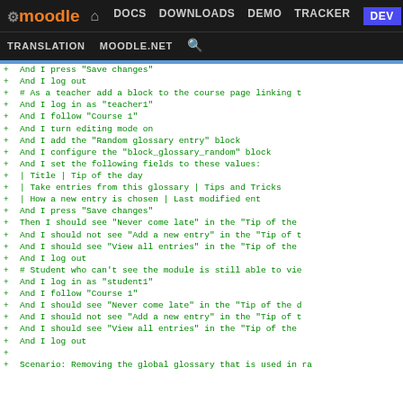moodle DOCS DOWNLOADS DEMO TRACKER DEV TRANSLATION MOODLE.NET
[Figure (screenshot): Moodle developer site navigation header with logo, nav links (DOCS, DOWNLOADS, DEMO, TRACKER, DEV highlighted in blue), and secondary nav (TRANSLATION, MOODLE.NET, search icon)]
+ And I press "Save changes"
+ And I log out
+ # As a teacher add a block to the course page linking t
+ And I log in as "teacher1"
+ And I follow "Course 1"
+ And I turn editing mode on
+ And I add the "Random glossary entry" block
+ And I configure the "block_glossary_random" block
+ And I set the following fields to these values:
+ | Title | Tip of the day
+ | Take entries from this glossary | Tips and Tricks
+ | How a new entry is chosen | Last modified ent
+ And I press "Save changes"
+ Then I should see "Never come late" in the "Tip of the
+ And I should not see "Add a new entry" in the "Tip of t
+ And I should see "View all entries" in the "Tip of the
+ And I log out
+ # Student who can't see the module is still able to vie
+ And I log in as "student1"
+ And I follow "Course 1"
+ And I should see "Never come late" in the "Tip of the d
+ And I should not see "Add a new entry" in the "Tip of t
+ And I should see "View all entries" in the "Tip of the
+ And I log out
+
+ Scenario: Removing the global glossary that is used in ra